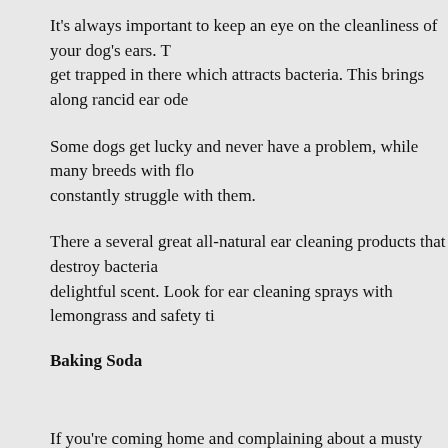It's always important to keep an eye on the cleanliness of your dog's ears. Things can get trapped in there which attracts bacteria. This brings along rancid ear odors...
Some dogs get lucky and never have a problem, while many breeds with floppy ears constantly struggle with them.
There a several great all-natural ear cleaning products that destroy bacteria and leave a delightful scent. Look for ear cleaning sprays with lemongrass and safety ti...
Baking Soda
If you're coming home and complaining about a musty house that smells of dog, reach for the baking soda. Unlike air fresheners, baking soda doesn't mask smells but makes removing odors a breeze.
Simply vacuum first to pick up any particles lying around. Then turn your home into a wonderland — really, your carpet should be mostly white and covered after... Let it sit for at least a few hours — overnight is best — then just vacuum it...